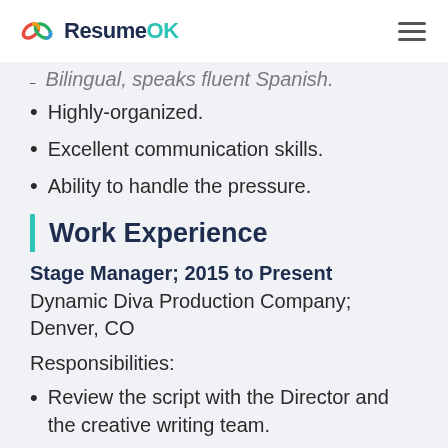ResumeOK
Bilingual, speaks fluent Spanish.
Highly-organized.
Excellent communication skills.
Ability to handle the pressure.
Work Experience
Stage Manager; 2015 to Present
Dynamic Diva Production Company; Denver, CO
Responsibilities:
Review the script with the Director and the creative writing team.